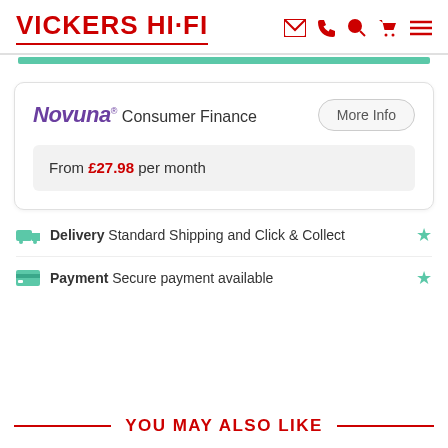VICKERS HI·FI
Novuna® Consumer Finance
More Info
From £27.98 per month
Delivery Standard Shipping and Click & Collect
Payment Secure payment available
YOU MAY ALSO LIKE